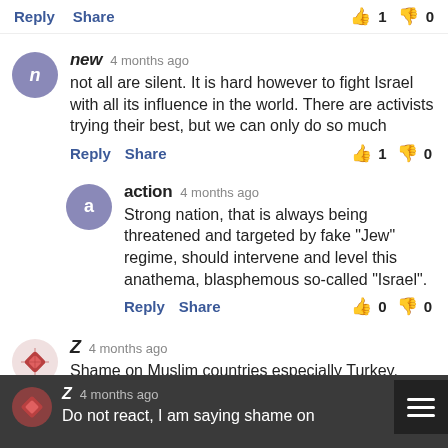Reply  Share  [thumbsup] 1  [thumbsdown] 0
new 4 months ago
not all are silent. It is hard however to fight Israel with all its influence in the world. There are activists trying their best, but we can only do so much
Reply  Share  [thumbsup] 1  [thumbsdown] 0
action 4 months ago
Strong nation, that is always being threatened and targeted by fake "Jew" regime, should intervene and level this anathema, blasphemous so-called "Israel".
Reply  Share  [thumbsup] 0  [thumbsdown] 0
Z 4 months ago
Shame on Muslim countries especially Turkey, Iran/Iraq, Pakistan.
Reply  Share  [thumbsup] 1  [thumbsdown] 0
Z 4 months ago
Do not react, I am saying shame on